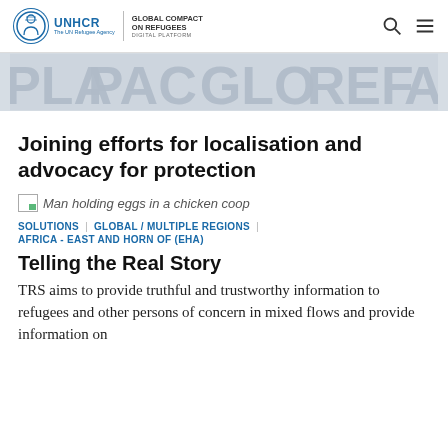UNHCR | GLOBAL COMPACT ON REFUGEES DIGITAL PLATFORM
[Figure (photo): Banner image with large letters spelling out fragments: PLA, PAC, GLO, REF, ATH on a light gray background]
Joining efforts for localisation and advocacy for protection
[Figure (photo): Man holding eggs in a chicken coop]
SOLUTIONS | GLOBAL / MULTIPLE REGIONS | AFRICA - EAST AND HORN OF (EHA)
Telling the Real Story
TRS aims to provide truthful and trustworthy information to refugees and other persons of concern in mixed flows and provide information on